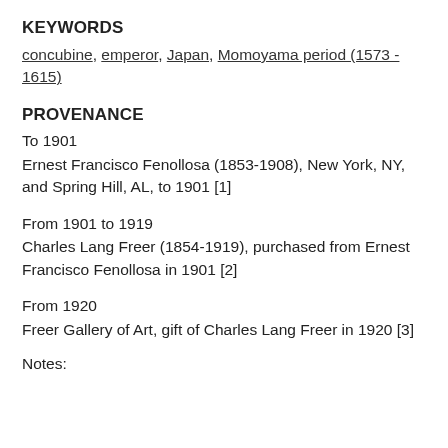KEYWORDS
concubine, emperor, Japan, Momoyama period (1573 - 1615)
PROVENANCE
To 1901
Ernest Francisco Fenollosa (1853-1908), New York, NY, and Spring Hill, AL, to 1901 [1]
From 1901 to 1919
Charles Lang Freer (1854-1919), purchased from Ernest Francisco Fenollosa in 1901 [2]
From 1920
Freer Gallery of Art, gift of Charles Lang Freer in 1920 [3]
Notes: